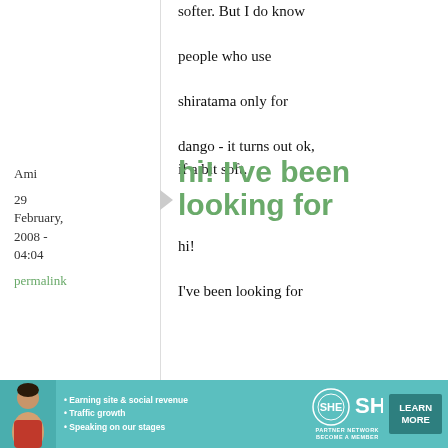softer. But I do know people who use shiratama only for dango - it turns out ok, if a bit soft.
Ami
29 February, 2008 - 04:04
permalink
hi! I've been looking for
hi!
I've been looking for
[Figure (infographic): SHE Partner Network advertisement banner with a woman photo, bullet points about earning site & social revenue, traffic growth, speaking on stages, SHE logo, and Learn More button]